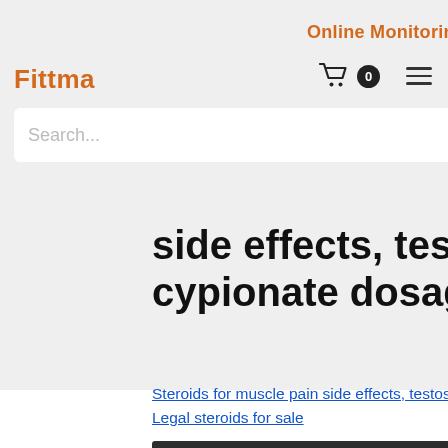Online Monitoring
Fittma
in side effects, testosterone cypionate dosage for weight loss
Steroids for muscle pain side effects, testosterone cypionate dosage for weight loss - Legal steroids for sale
[Figure (photo): Dark blurred product image at the bottom of the page]